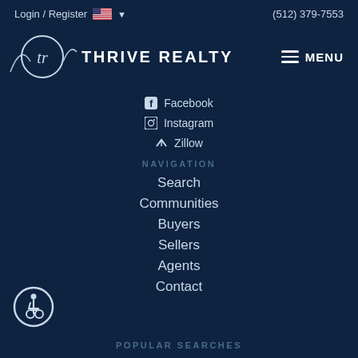Login / Register   (512) 379-7553
[Figure (logo): Thrive Realty logo with circular script 'tr' monogram and THRIVE REALTY wordmark]
Facebook
Instagram
Zillow
NAVIGATION
Search
Communities
Buyers
Sellers
Agents
Contact
[Figure (illustration): Wheelchair accessibility icon in a circle]
POPULAR SEARCHES